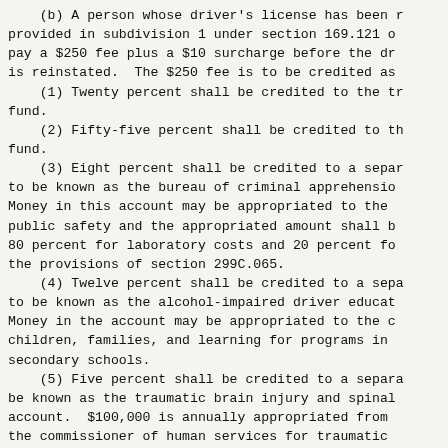(b) A person whose driver's license has been r provided in subdivision 1 under section 169.121 o pay a $250 fee plus a $10 surcharge before the dr is reinstated.  The $250 fee is to be credited as
    (1) Twenty percent shall be credited to the tr fund.
    (2) Fifty-five percent shall be credited to th fund.
    (3) Eight percent shall be credited to a separ to be known as the bureau of criminal apprehensio Money in this account may be appropriated to the public safety and the appropriated amount shall b 80 percent for laboratory costs and 20 percent fo the provisions of section 299C.065.
    (4) Twelve percent shall be credited to a sepa to be known as the alcohol-impaired driver educat Money in the account may be appropriated to the c children, families, and learning for programs in secondary schools.
    (5) Five percent shall be credited to a separa be known as the traumatic brain injury and spinal account.  $100,000 is annually appropriated from the commissioner of human services for traumatic case management services.  The remaining money in annually appropriated to the commissioner of hea